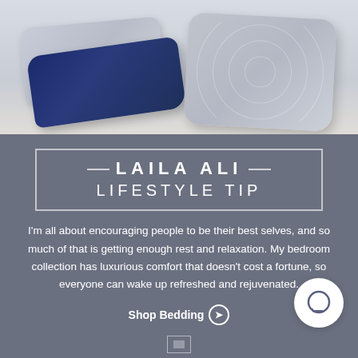[Figure (photo): Decorative pillows on a bed: a navy blue quilted pillow, a grey patterned pillow on the left, and a large grey geometric-patterned pillow on the right]
LAILA ALI LIFESTYLE TIP
I'm all about encouraging people to be their best selves, and so much of that is getting enough rest and relaxation. My bedroom collection has luxurious comfort that doesn't cost a fortune, so everyone can wake up refreshed and rejuvenated.
Shop Bedding →
[Figure (illustration): White circular chat bubble icon in the bottom right of the grey section]
[Figure (logo): Small logo/image placeholder at the bottom center of the page]